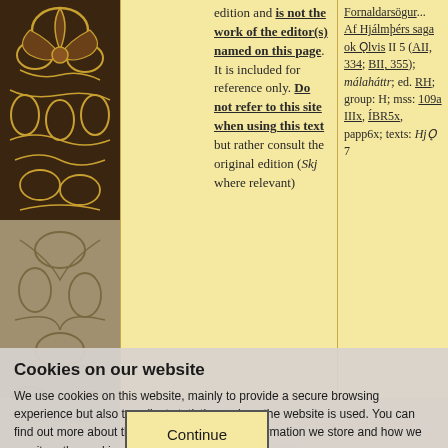edition and is not the work of the editor(s) named on this page. It is included for reference only. Do not refer to this site when using this text but rather consult the original edition (Skj where relevant)
Fornaldarsögur... Af Hjálmþérs saga ok Ǫlvis II 5 (AII, 334; BII, 355); málaháttr; ed. RH; group: H; mss: 109a IIIx, ÍBR5x, papp6x; texts: HjǪ 7
hjúklðgar; mær en harðleita. leika at hrækerti en hǫldar aðrir sex; sei mér sárlong
Cookies on our website
We use cookies on this website, mainly to provide a secure browsing experience but also to collect statistics on how the website is used. You can find out more about the cookies we set, the information we store and how we use it on the cookies page.